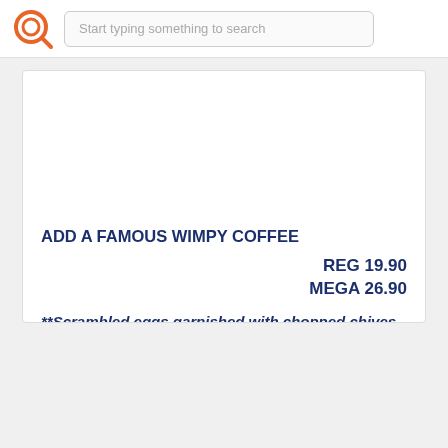[Figure (logo): Orange circular logo resembling a search/lens icon]
Start typing something to search
ADD A FAMOUS WIMPY COFFEE
REG 19.90
MEGA 26.90
**Scrambled eggs garnished with chopped chives